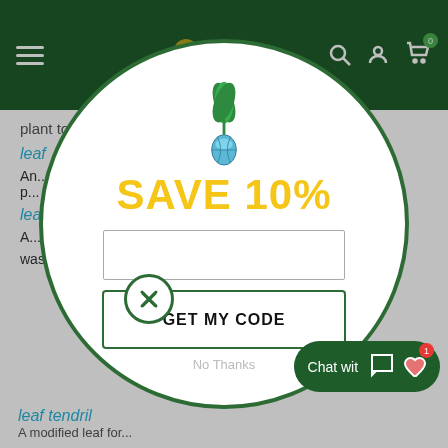plant tools
leaf
An... p...
leaf
A visible... was attache...
leaf tendril
[Figure (screenshot): Popup modal overlay on a plant/garden website showing a green plant logo with a water droplet, bold yellow text SAVE 10%, an email input field, a GET MY CODE button with green border, and No Thanks link. Background shows dark green navigation header and article text about plant leaves.]
No Thanks
Chat wit